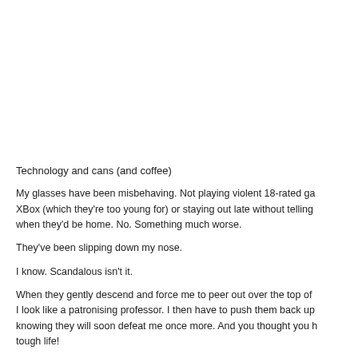Technology and cans (and coffee)
My glasses have been misbehaving. Not playing violent 18-rated ga... XBox (which they're too young for) or staying out late without telling... when they'd be home. No. Something much worse.
They've been slipping down my nose.
I know. Scandalous isn't it.
When they gently descend and force me to peer out over the top of... I look like a patronising professor. I then have to push them back up... knowing they will soon defeat me once more. And you thought you h... tough life!
So to tell them who's boss I popped into my local optician and had th... sorted. They were given a stern talking to, made to sit in the naught...